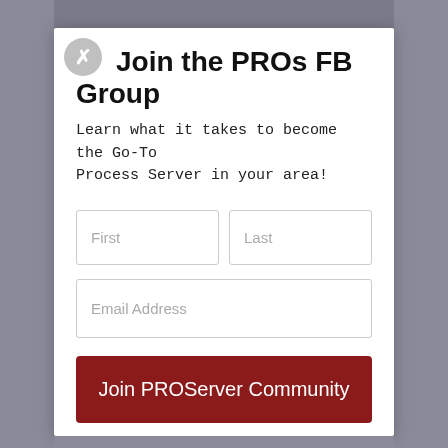Join the PROs FB Group
Learn what it takes to become the Go-To Process Server in your area!
[Figure (screenshot): Web form modal with two name fields (First, Last), an Email Address field, and a dark red 'Join PROServer Community' button]